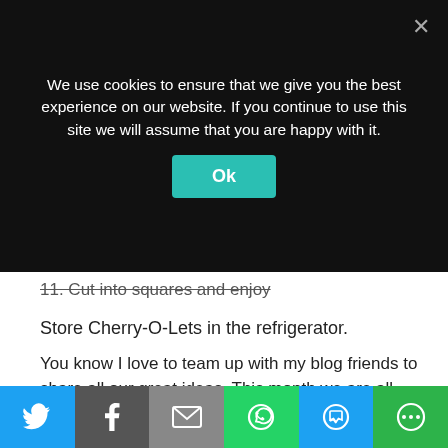[Figure (screenshot): Cookie consent banner overlay on a dark background with text 'We use cookies to ensure that we give you the best experience on our website. If you continue to use this site we will assume that you are happy with it.' with a teal 'Ok' button and an X close button.]
11. Cut into squares and enjoy
Store Cherry-O-Lets in the refrigerator.
You know I love to team up with my blog friends to share all our great ideas. This month we are all sharing some valentine ideas. Check them out:
[Figure (infographic): Partial view of a 'Sweet Ideas for...' banner with a red heart containing the number 6, beside red serif italic text reading 'Sweet Ideas' and 'for']
[Figure (infographic): Social sharing bar with Twitter, Facebook, Email, WhatsApp, SMS, and More buttons]